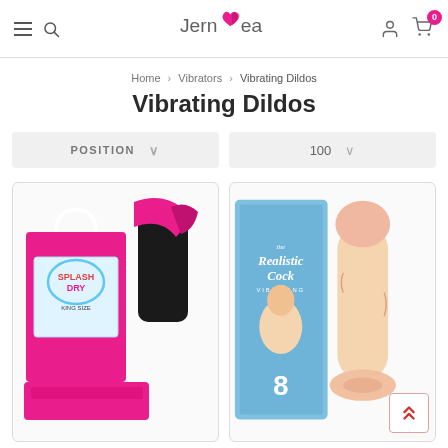Jernea — navigation header with hamburger menu, search icon, logo, user icon, and cart with 0 items
Home > Vibrators > Vibrating Dildos
Vibrating Dildos
POSITION (dropdown) | 100 (dropdown)
[Figure (photo): Product photo 1: Pink bag with Splash Dry branding and a black vibrator with pink silk]
[Figure (photo): Product photo 2: The Realistic Cock packaging box and a flesh-colored realistic dildo with suction base]